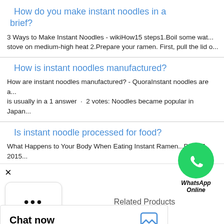How do you make instant noodles in a brief?
3 Ways to Make Instant Noodles - wikiHow15 steps1.Boil some wat... stove on medium-high heat 2.Prepare your ramen. First, pull the lid o...
How is instant noodles manufactured?
How are instant noodles manufactured? - QuoraInstant noodles are a... is usually in a 1 answer · 2 votes: Noodles became popular in Japan...
Is instant noodle processed for food?
What Happens to Your Body When Eating Instant Ramen...Dec 17, 2015... true with most processed foods. How Bad are Instant Noodles for Yo...
[Figure (logo): WhatsApp green logo icon with WhatsApp Online label in italic]
×
[Figure (infographic): Three dots loading icon in a rounded rectangle box]
Related Products
Chat now